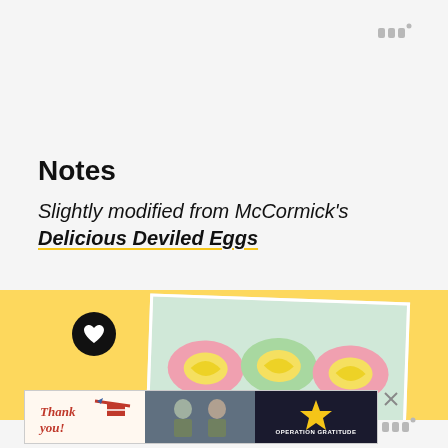[Figure (logo): Whisk/Pepper logo mark icon in gray, top right]
Notes
Slightly modified from McCormick's Delicious Deviled Eggs
[Figure (photo): Yellow background section with a heart button icon and a tilted photo of colorful deviled eggs (pink, green, yellow)]
[Figure (photo): Advertisement banner: Thank you with American flag motif, soldiers photo, and Operation Gratitude logo]